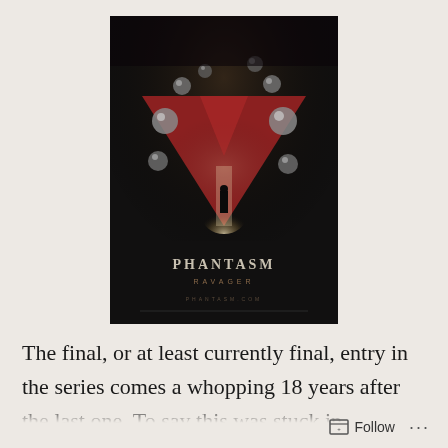[Figure (illustration): Movie poster for Phantasm Ravager. Dark background with a large red inverted triangle/V shape in the center. A silhouetted figure stands at the apex of the triangle bathed in white light. Metallic silver spheres float around the upper portion of the poster. Text reads 'PHANTASM RAVAGER' at the bottom.]
The final, or at least currently final, entry in the series comes a whopping 18 years after the last one. To say this was stuck in development hell is a
Follow ...